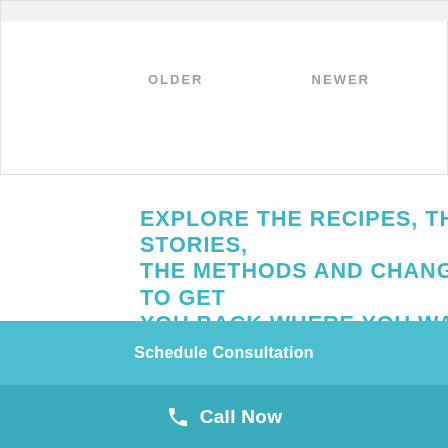OLDER
NEWER
EXPLORE THE RECIPES, THE STORIES, THE METHODS AND CHANGES TO GET YOU BACK WHERE YOU WANT TO BE.
RECIPES
THYROID ISSUES
HISTAMINE ISSUES
Schedule Consultation
Call Now